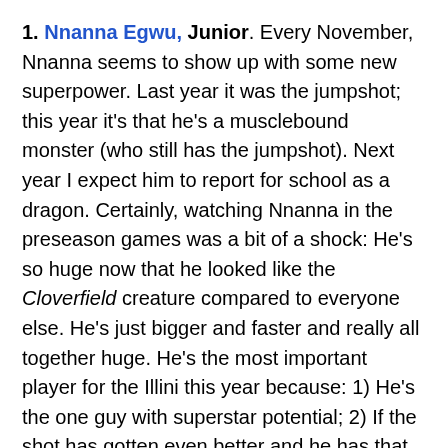1. Nnanna Egwu, Junior. Every November, Nnanna seems to show up with some new superpower. Last year it was the jumpshot; this year it's that he's a musclebound monster (who still has the jumpshot). Next year I expect him to report for school as a dragon. Certainly, watching Nnanna in the preseason games was a bit of a shock: He's so huge now that he looked like the Cloverfield creature compared to everyone else. He's just bigger and faster and really all together huge. He's the most important player for the Illini this year because: 1) He's the one guy with superstar potential; 2) If the shot has gotten even better and he has that extra post move we keep hearing about, he could be near unguardable in the suddenly fast-fast Big Ten; 3) The Illini have almost nothing behind him, post-wise. The key to the year for Nnanna will be foul trouble. His on-court brilliance can help the Illini with